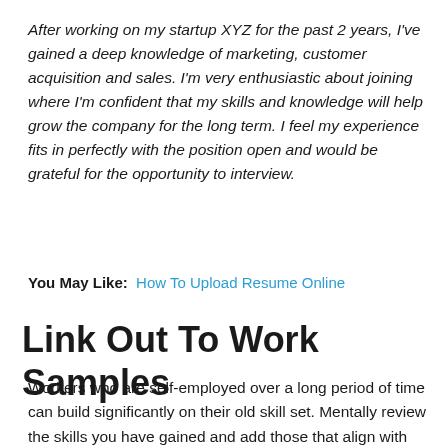After working on my startup XYZ for the past 2 years, I've gained a deep knowledge of marketing, customer acquisition and sales. I'm very enthusiastic about joining where I'm confident that my skills and knowledge will help grow the company for the long term. I feel my experience fits in perfectly with the position open and would be grateful for the opportunity to interview.
You May Like: How To Upload Resume Online
Link Out To Work Samples
Workers who are self-employed over a long period of time can build significantly on their old skill set. Mentally review the skills you have gained and add those that align with your target job to your resume. One of the best sources of self-